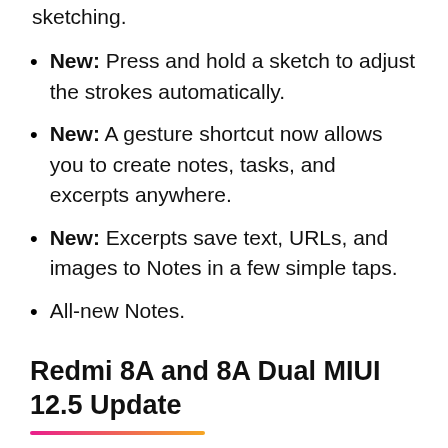sketching.
New: Press and hold a sketch to adjust the strokes automatically.
New: A gesture shortcut now allows you to create notes, tasks, and excerpts anywhere.
New: Excerpts save text, URLs, and images to Notes in a few simple taps.
All-new Notes.
Redmi 8A and 8A Dual MIUI 12.5 Update
Xiaomi pushes the MIUI 12.5 update for Redmi 8A and 8A Dual via stable channel, it is available for users in India. So if you have a Redmi 8A or 8A Dual then you can get the update anytime soon.